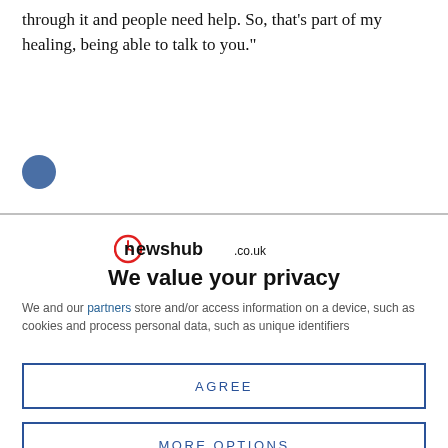through it and people need help. So, that’s part of my healing, being able to talk to you.”
[Figure (other): Blue circular avatar/profile icon]
[Figure (logo): Newshub.co.uk logo with red clock icon]
We value your privacy
We and our partners store and/or access information on a device, such as cookies and process personal data, such as unique identifiers
AGREE
MORE OPTIONS